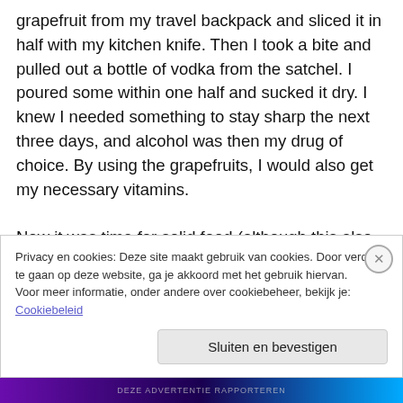grapefruit from my travel backpack and sliced it in half with my kitchen knife. Then I took a bite and pulled out a bottle of vodka from the satchel. I poured some within one half and sucked it dry. I knew I needed something to stay sharp the next three days, and alcohol was then my drug of choice. By using the grapefruits, I would also get my necessary vitamins.

Now it was time for solid food (although this also happens to consist for 99.9999999% of empty space). The only problem was, I'm a vegetarian. And the offer of vegetarian food above the high seas is still completely non-existent.
Privacy en cookies: Deze site maakt gebruik van cookies. Door verder te gaan op deze website, ga je akkoord met het gebruik hiervan.
Voor meer informatie, onder andere over cookiebeheer, bekijk je:
Cookiebeleid
Sluiten en bevestigen